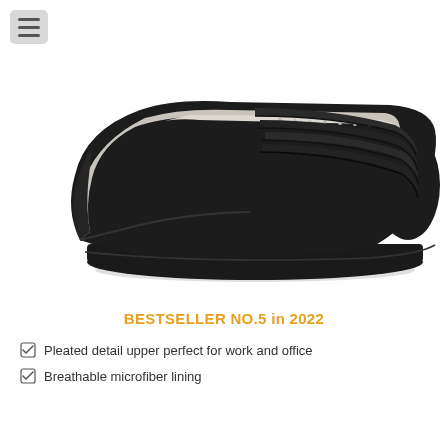[Figure (photo): Black women's flat ballet shoe with pleated detail on the toe upper, shown from a side angle on white background. The shoe has a rounded toe, smooth black leather upper with horizontal pleated lines near the toe, white/grey interior lining visible, and a very low black sole.]
BESTSELLER NO.5 in 2022
Pleated detail upper perfect for work and office
Breathable microfiber lining